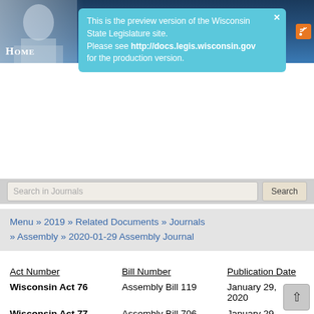HOME
This is the preview version of the Wisconsin State Legislature site. Please see http://docs.legis.wisconsin.gov for the production version.
Search in Journals | Search
Menu » 2019 » Related Documents » Journals » Assembly » 2020-01-29 Assembly Journal
| Act Number | Bill Number | Publication Date |
| --- | --- | --- |
| Wisconsin Act 76 | Assembly Bill 119 | January 29, 2020 |
| Wisconsin Act 77 | Assembly Bill 706 | January 29, 2020 |
| Wisconsin Act 78 | Assembly Bill 707 | January 29, 2020 |